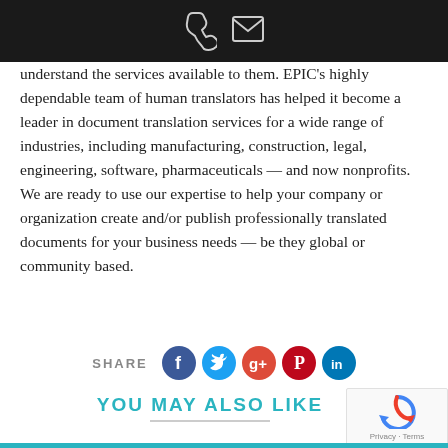[phone icon] [email icon]
understand the services available to them. EPIC's highly dependable team of human translators has helped it become a leader in document translation services for a wide range of industries, including manufacturing, construction, legal, engineering, software, pharmaceuticals — and now nonprofits. We are ready to use our expertise to help your company or organization create and/or publish professionally translated documents for your business needs — be they global or community based.
SHARE [social icons: Facebook, Twitter, Google+, Pinterest, LinkedIn]
YOU MAY ALSO LIKE
[Figure (other): reCAPTCHA widget with Privacy and Terms links]